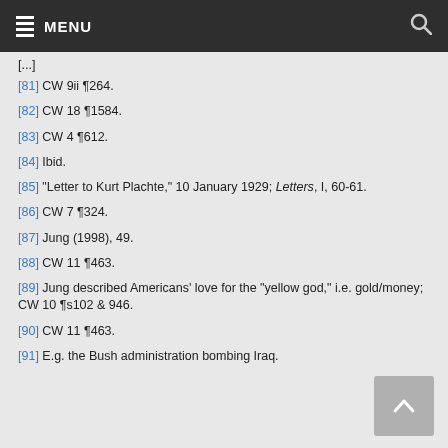MENU
[81] CW 9ii ¶264.
[82] CW 18 ¶1584.
[83] CW 4 ¶612.
[84] Ibid.
[85] "Letter to Kurt Plachte," 10 January 1929; Letters, I, 60-61.
[86] CW 7 ¶324.
[87] Jung (1998), 49.
[88] CW 11 ¶463.
[89] Jung described Americans' love for the "yellow god," i.e. gold/money; CW 10 ¶s102 & 946.
[90] CW 11 ¶463.
[91] E.g. the Bush administration bombing Iraq.